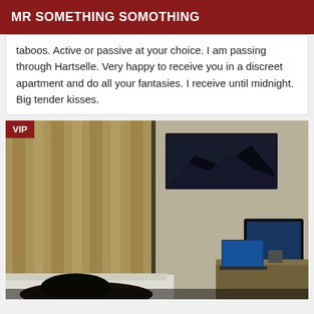MR SOMETHING SOMOTHING
taboos. Active or passive at your choice. I am passing through Hartselle. Very happy to receive you in a discreet apartment and do all your fantasies. I receive until midnight. Big tender kisses.
[Figure (photo): Interior of a hotel room showing curtains on the left, a framed picture on the wall, a TV and laptop on a desk to the right, and bedding in the foreground. A VIP badge appears in the top-left corner.]